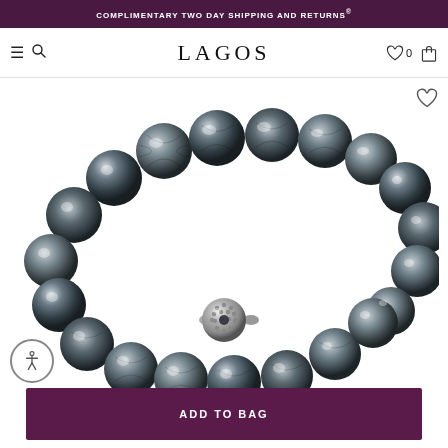COMPLIMENTARY TWO DAY SHIPPING AND RETURNS®
LAGOS
[Figure (photo): A beaded stretch bracelet made of large faceted dark metallic gray/silver beads arranged in a circle, with one decorative sterling silver caviar-style ball bead accent, photographed on a white background.]
ADD TO BAG